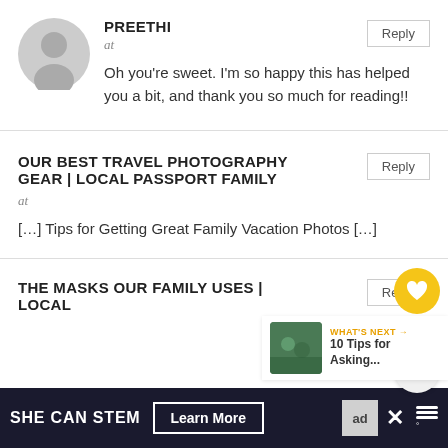PREETHI
at
Oh you’re sweet. I’m so happy this has helped you a bit, and thank you so much for reading!!
OUR BEST TRAVEL PHOTOGRAPHY GEAR | LOCAL PASSPORT FAMILY
at
[...] Tips for Getting Great Family Vacation Photos [...]
THE MASKS OUR FAMILY USES | LOCAL
WHAT’S NEXT → 10 Tips for Asking...
SHE CAN STEM
Learn More